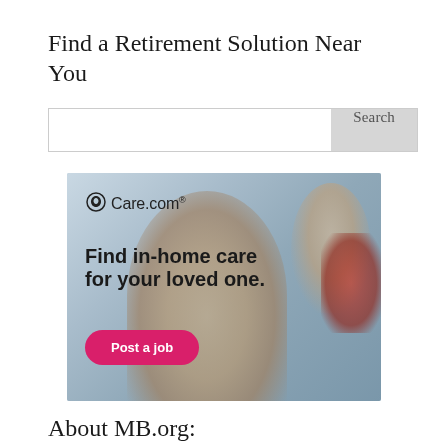Find a Retirement Solution Near You
[Figure (other): Care.com advertisement showing an elderly woman being assisted by a caregiver, with text 'Find in-home care for your loved one.' and a pink 'Post a job' button]
About MB.org: